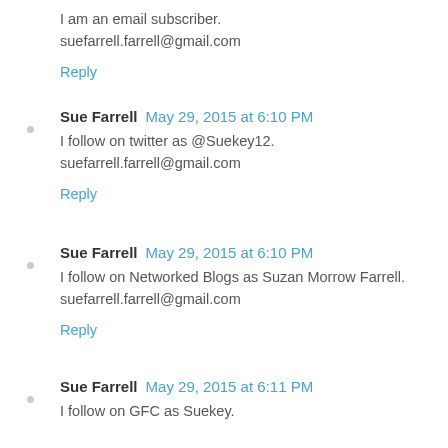I am an email subscriber.
suefarrell.farrell@gmail.com
Reply
Sue Farrell  May 29, 2015 at 6:10 PM
I follow on twitter as @Suekey12.
suefarrell.farrell@gmail.com
Reply
Sue Farrell  May 29, 2015 at 6:10 PM
I follow on Networked Blogs as Suzan Morrow Farrell.
suefarrell.farrell@gmail.com
Reply
Sue Farrell  May 29, 2015 at 6:11 PM
I follow on GFC as Suekey.